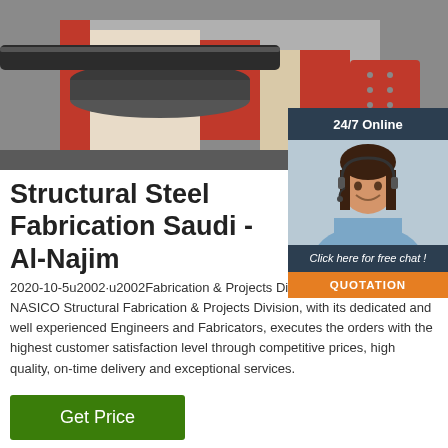[Figure (photo): Industrial steel fabrication machine with red and beige components, rollers and metal tubes visible]
[Figure (infographic): 24/7 Online chat widget with a woman wearing a headset, 'Click here for free chat!' text, and an orange QUOTATION button]
Structural Steel Fabrication Saudi - Al-Najim
2020-10-5u2002·u2002Fabrication & Projects Division. STRENGTH. NASICO Structural Fabrication & Projects Division, with its dedicated and well experienced Engineers and Fabricators, executes the orders with the highest customer satisfaction level through competitive prices, high quality, on-time delivery and exceptional services.
[Figure (other): Green 'Get Price' button]